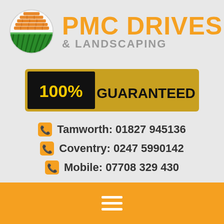[Figure (logo): PMC Drives & Landscaping logo with circular brick/landscape icon and orange brand name text]
[Figure (infographic): 100% GUARANTEED badge with black left section showing '100%' in yellow and gold right section showing 'GUARANTEED' in black bold text]
Tamworth: 01827 945136
Coventry: 0247 5990142
Mobile: 07708 329 430
[Figure (infographic): Hamburger menu icon (three white horizontal lines) on orange footer bar]